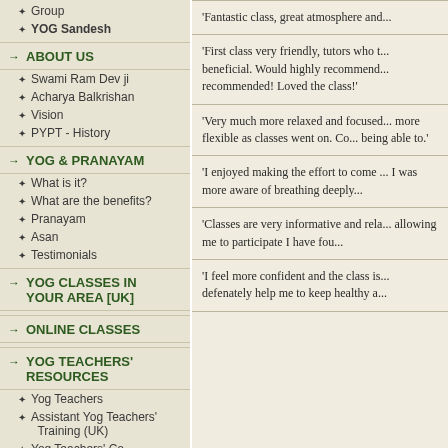Group
YOG Sandesh
ABOUT US
Swami Ram Dev ji
Acharya Balkrishan
Vision
PYPT - History
YOG & PRANAYAM
What is it?
What are the benefits?
Pranayam
Asan
Testimonials
YOG CLASSES IN YOUR AREA [UK]
ONLINE CLASSES
YOG TEACHERS' RESOURCES
Yog Teachers
Assistant Yog Teachers' Training (UK)
Yog Teachers' Co-ordinators
'Fantastic class, great atmosphere and...
'First class very friendly, tutors who t... beneficial. Would highly recommend... recommended! Loved the class!'
'Very much more relaxed and focused... more flexible as classes went on. Co... being able to.'
'I enjoyed making the effort to come ... I was more aware of breathing deeply...
'Classes are very informative and rela... allowing me to participate I have fou...
'I feel more confident and the class is... defenately help me to keep healthy a...